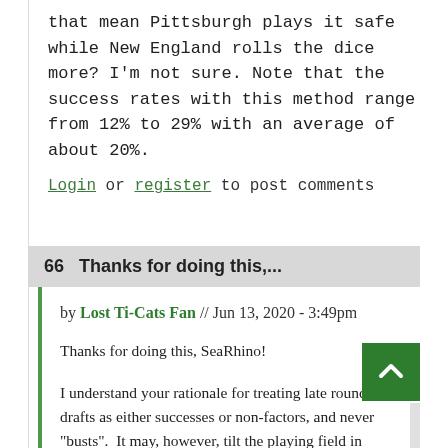that mean Pittsburgh plays it safe while New England rolls the dice more? I'm not sure. Note that the success rates with this method range from 12% to 29% with an average of about 20%.
Login or register to post comments
66  Thanks for doing this,...
by Lost Ti-Cats Fan // Jun 13, 2020 - 3:49pm
Thanks for doing this, SeaRhino!
I understand your rationale for treating late round drafts as either successes or non-factors, and never "busts".  It may, however, tilt the playing field in favour of